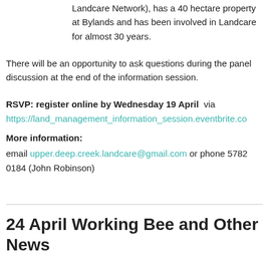Landcare Network), has a 40 hectare property at Bylands and has been involved in Landcare for almost 30 years.
There will be an opportunity to ask questions during the panel discussion at the end of the information session.
RSVP: register online by Wednesday 19 April  via https://land_management_information_session.eventbrite.co
More information:
email upper.deep.creek.landcare@gmail.com or phone 5782 0184 (John Robinson)
24 April Working Bee and Other News